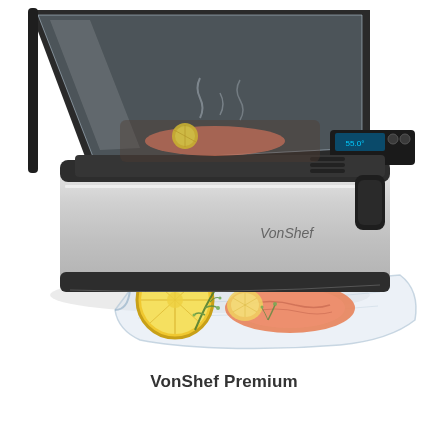[Figure (photo): A VonShef Premium sous vide machine with stainless steel body and black lid open, containing a salmon fillet with lemon slice inside. In front of the machine is a vacuum-sealed bag containing a salmon fillet with lemon and dill, and a halved lemon placed beside it on a white background. The VonShef brand logo is visible on the side of the machine.]
VonShef Premium